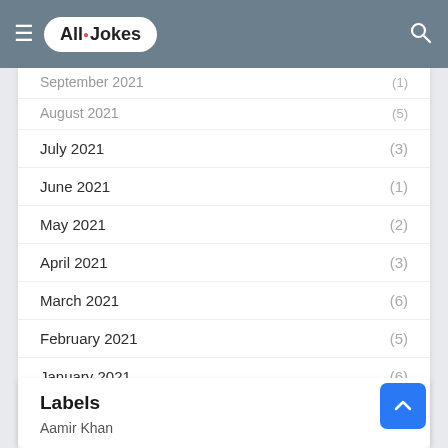AllJokes
July 2021 (3)
June 2021 (1)
May 2021 (2)
April 2021 (3)
March 2021 (6)
February 2021 (5)
January 2021 (6)
December 2020 (15)
October 2020 (16)
September 2020 (1)
Labels
Aamir Khan